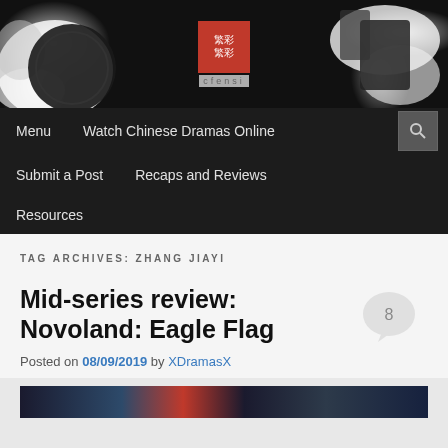[Figure (logo): cfensi website banner with ink splash design and red Chinese seal logo reading 'cfensi']
Menu  Watch Chinese Dramas Online  Submit a Post  Recaps and Reviews  Resources
TAG ARCHIVES: ZHANG JIAYI
Mid-series review: Novoland: Eagle Flag
Posted on 08/09/2019 by XDramasX
[Figure (photo): Thumbnail strip from Novoland: Eagle Flag drama]